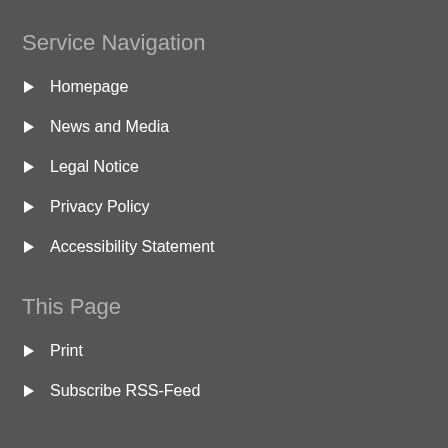Service Navigation
Homepage
News and Media
Legal Notice
Privacy Policy
Accessibility Statement
This Page
Print
Subscribe RSS-Feed